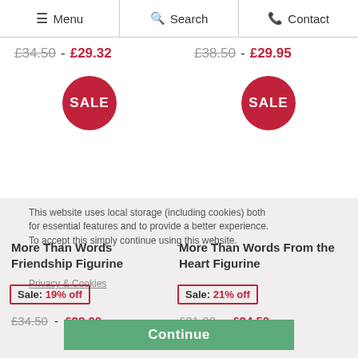☰ Menu  🔍 Search  📞 Contact
£34.50 - £29.32  |  £38.50 - £29.95
[Figure (other): Two red circular SALE badges side by side]
This website uses local storage (including cookies) both for essential features and to provide a better experience. To accept this simply continue using this website.
Privacy & Cookies
More Than Words Friendship Figurine
More Than Words From the Heart Figurine
Sale: 19% off
Sale: 21% off
£34.50 - £28.00
£31.00 - £24.50
Continue